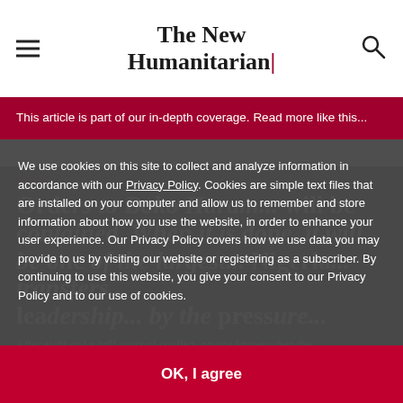The New Humanitarian
This article is part of our in-depth coverage. Read more like this...
ABUJA
Ord... Boko Haram... will be contained. When it is done, it will be one of the largest... Nigeria... transfers... leadership... by the... pressure...
After eight and a half years of conflict, no one knows when the
violent outrage.
We use cookies on this site to collect and analyze information in accordance with our Privacy Policy. Cookies are simple text files that are installed on your computer and allow us to remember and store information about how you use the website, in order to enhance your user experience. Our Privacy Policy covers how we use data you may provide to us by visiting our website or registering as a subscriber. By continuing to use this website, you give your consent to our Privacy Policy and to our use of cookies.
OK, I agree